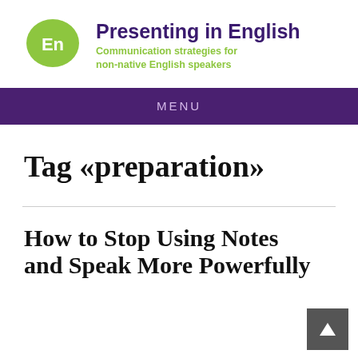[Figure (logo): Green speech bubble circle with white 'En' text in bold, representing the Presenting in English logo]
Presenting in English
Communication strategies for non-native English speakers
MENU
Tag «preparation»
How to Stop Using Notes and Speak More Powerfully